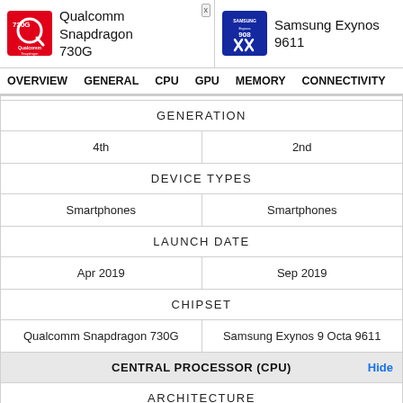[Figure (screenshot): Comparison page header showing Qualcomm Snapdragon 730G and Samsung Exynos 9611 chip logos and names]
OVERVIEW  GENERAL  CPU  GPU  MEMORY  CONNECTIVITY
| GENERATION |  |
| --- | --- |
| 4th | 2nd |
| DEVICE TYPES |  |
| Smartphones | Smartphones |
| LAUNCH DATE |  |
| Apr 2019 | Sep 2019 |
| CHIPSET |  |
| Qualcomm Snapdragon 730G | Samsung Exynos 9 Octa 9611 |
| CENTRAL PROCESSOR (CPU)  Hide |  |
| ARCHITECTURE |  |